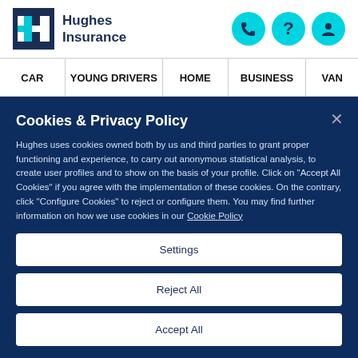[Figure (logo): Hughes Insurance logo with stylized H in dark blue and cyan, followed by text 'Hughes Insurance']
[Figure (infographic): Three cyan circular icon buttons: phone/call icon, question mark icon, person/account icon]
CAR | YOUNG DRIVERS | HOME | BUSINESS | VAN
Cookies & Privacy Policy
Hughes uses cookies owned both by us and third parties to grant proper functioning and experience, to carry out anonymous statistical analysis, to create user profiles and to show on the basis of your profile. Click on "Accept All Cookies" if you agree with the implementation of these cookies. On the contrary, click "Configure Cookies" to reject or configure them. You may find further information on how we use cookies in our Cookie Policy
Settings
Reject All
Accept All